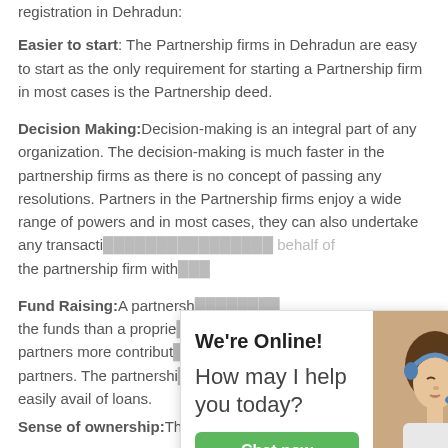registration in Dehradun:
Easier to start: The Partnership firms in Dehradun are easy to start as the only requirement for starting a Partnership firm in most cases is the Partnership deed.
Decision Making: Decision-making is an integral part of any organization. The decision-making is much faster in the partnership firms as there is no concept of passing any resolutions. Partners in the Partnership firms enjoy a wide range of powers and in most cases, they can also undertake any transactions on behalf of the partnership firm with...
[Figure (screenshot): Chat widget popup showing 'We're Online! How may I help you today?' with a green 'Chat now' button and a photo of a woman with a headset.]
Fund Raising: A partnership... the funds than a proprie... partners more contribut... partners. The partnershi... easily avail of loans.
Sense of ownership: The activities of the firms are owned...